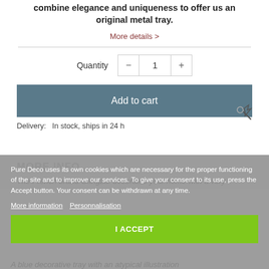combine elegance and uniqueness to offer us an original metal tray.
More details >
Quantity  1
Add to cart
Delivery:  In stock, ships in 24 h
MORE INFO
Pure Deco uses its own cookies which are necessary for the proper functioning of the site and to improve our services. To give your consent to its use, press the Accept button. Your consent can be withdrawn at any time.
More information   Personnalisation
The French brand Gangzaï decorates your home with a very
I ACCEPT
A blue decorative tray with an atypical illustration